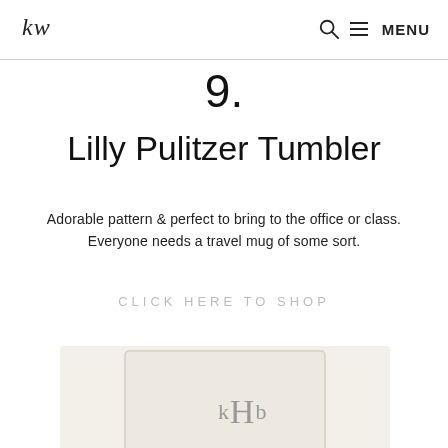KW | MENU
9.
Lilly Pulitzer Tumbler
Adorable pattern & perfect to bring to the office or class. Everyone needs a travel mug of some sort.
CLICK HERE TO SHOP
[Figure (photo): Photo of a cream/beige monogrammed tumbler or container with the letters kHb embroidered or printed on it, on a light background.]